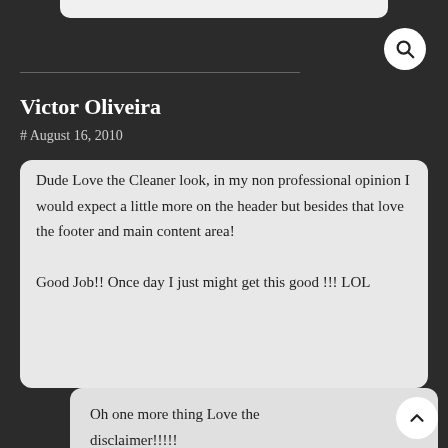[Figure (other): Partial white card visible at top, cut off]
Victor Oliveira
# August 16, 2010
Dude Love the Cleaner look, in my non professional opinion I would expect a little more on the header but besides that love the footer and main content area!

Good Job!! Once day I just might get this good !!! LOL
Victor Oliveira
# August 16, 2010
Oh one more thing Love the disclaimer!!!!!